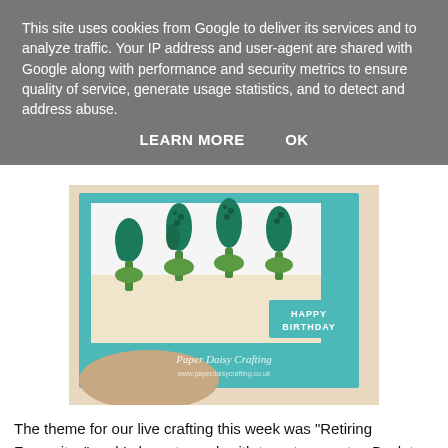This site uses cookies from Google to deliver its services and to analyze traffic. Your IP address and user-agent are shared with Google along with performance and security metrics to ensure quality of service, generate usage statistics, and to detect and address abuse.
LEARN MORE   OK
[Figure (photo): A hand holding a handmade teal birthday card with stamped floral/plant designs in green and gold, with 'HAPPY BIRTHDAY' text on a teal label. Watermark reads 'Paper Daisy Crafting www.paperdaisycrafting.co.uk'.]
The theme for our live crafting this week was "Retiring Favourites" and I chose to work with two stamp sets - Back to